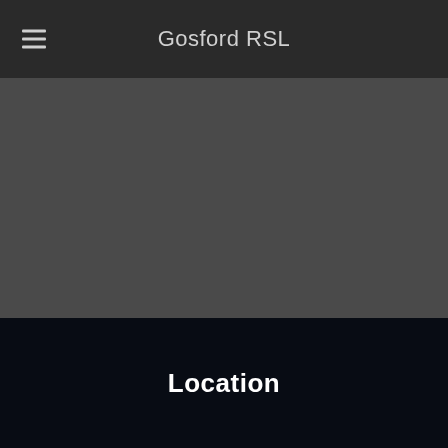Gosford RSL
[Figure (other): Dark gray hero/banner area placeholder image region]
Location